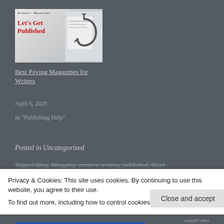[Figure (photo): Book cover image: 'Let's Get Published' with 'Writers' Resources' text at top, red bold text 'Let's Get Published', and fishing hooks on papers in background]
Best Paying Magazines for Writers
April 6, 2020
In "Publishing Help"
Posted in Uncategorized
Tagged Blog, Blogging, creative writing, published, Short
Privacy & Cookies: This site uses cookies. By continuing to use this website, you agree to their use.
To find out more, including how to control cookies, see here: Cookie Policy
Close and accept